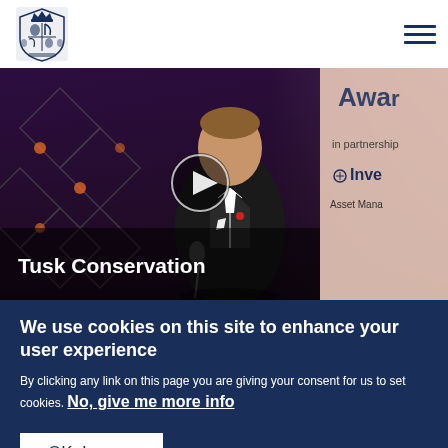[Figure (logo): Royal coat of arms / crest logo in blue]
[Figure (photo): Video thumbnail of a man in a tuxedo speaking at an awards event with a play button overlay. Text 'Awa...', 'in partnership', 'Inve...', 'Asset Mana...' visible on background banner. Title 'Tusk Conservation' overlaid at bottom.]
We use cookies on this site to enhance your user experience
By clicking any link on this page you are giving your consent for us to set cookies. No, give me more info
OK, I agree